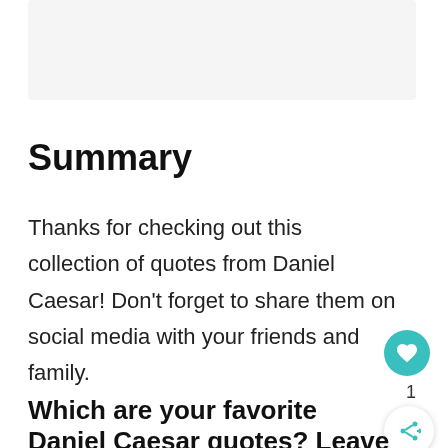[Figure (other): Light gray banner/image placeholder at the top of the page]
Summary
Thanks for checking out this collection of quotes from Daniel Caesar! Don't forget to share them on social media with your friends and family.
Which are your favorite Daniel Caesar quotes? Leave a comment